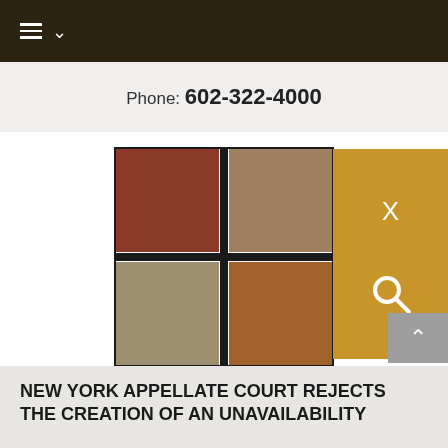≡ ∨
Phone: 602-322-4000
[Figure (logo): Four-square logo with brown/tan color quadrants divided by dark cross lines — the Steven Plitt Expert Witness brand logo]
Steven Plitt, Expert Witness
INSURANCE BAD FAITH CLAIM HANDLING EXPERT SERVING CLIENTS NATIONWIDE
NEW YORK APPELLATE COURT REJECTS THE CREATION OF AN UNAVAILABILITY